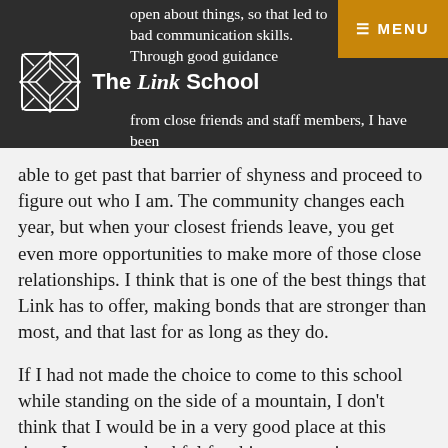open about things, so that led to bad communication skills. Through good guidance from close friends and staff members, I have been
able to get past that barrier of shyness and proceed to figure out who I am. The community changes each year, but when your closest friends leave, you get even more opportunities to make more of those close relationships. I think that is one of the best things that Link has to offer, making bonds that are stronger than most, and that last for as long as they do.
If I had not made the choice to come to this school while standing on the side of a mountain, I don't think that I would be in a very good place at this time. I am very thankful for this opportunity